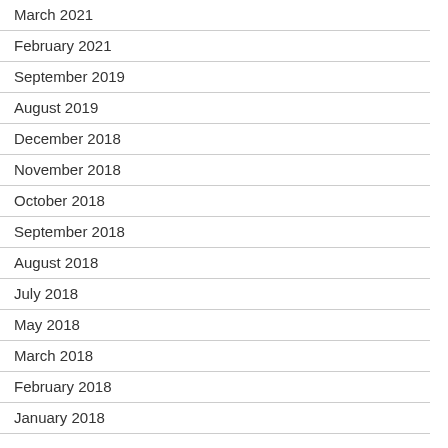March 2021
February 2021
September 2019
August 2019
December 2018
November 2018
October 2018
September 2018
August 2018
July 2018
May 2018
March 2018
February 2018
January 2018